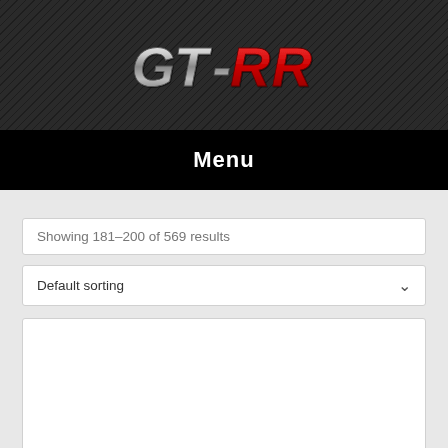[Figure (logo): GT-RR logo in chrome and red lettering on dark carbon fiber textured background]
Menu
Showing 181–200 of 569 results
Default sorting